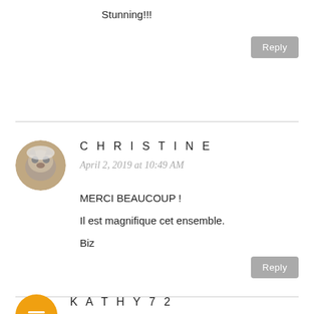Stunning!!!
Reply
CHRISTINE
April 2, 2019 at 10:49 AM
MERCI BEAUCOUP !
Il est magnifique cet ensemble.
Biz
Reply
KATHY72
February 8, 2020 at 5:40 PM
I absolutely love these! Thank you so